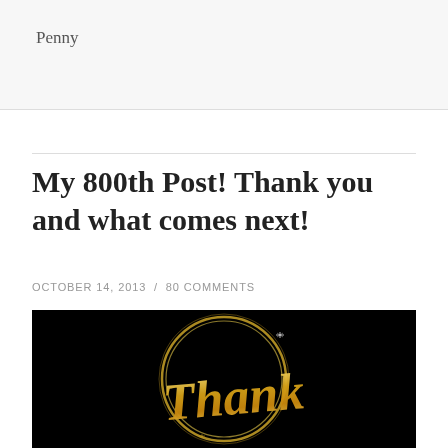Penny
My 800th Post! Thank you and what comes next!
OCTOBER 14, 2013 / 80 COMMENTS
[Figure (photo): Dark black background image with gold circular ring design and cursive gold text reading 'Thank' (partial view), decorative sparkles visible]